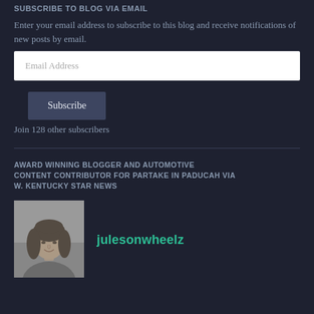SUBSCRIBE TO BLOG VIA EMAIL
Enter your email address to subscribe to this blog and receive notifications of new posts by email.
Email Address
Subscribe
Join 128 other subscribers
AWARD WINNING BLOGGER AND AUTOMOTIVE CONTENT CONTRIBUTOR FOR PARTAKE IN PADUCAH VIA W. KENTUCKY STAR NEWS
[Figure (photo): Black and white portrait photo of a woman with dark hair, smiling]
julesonwheelz